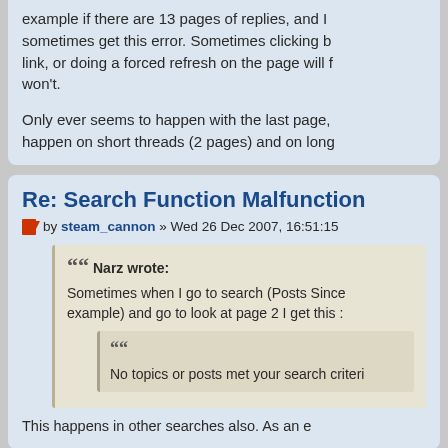example if there are 13 pages of replies, and I sometimes get this error. Sometimes clicking b link, or doing a forced refresh on the page will f won't.
Only ever seems to happen with the last page, happen on short threads (2 pages) and on long
Re: Search Function Malfunction
by steam_cannon » Wed 26 Dec 2007, 16:51:15
Narz wrote:
Sometimes when I go to search (Posts Since example) and go to look at page 2 I get this :
No topics or posts met your search criteri
This happens in other searches also. As an e